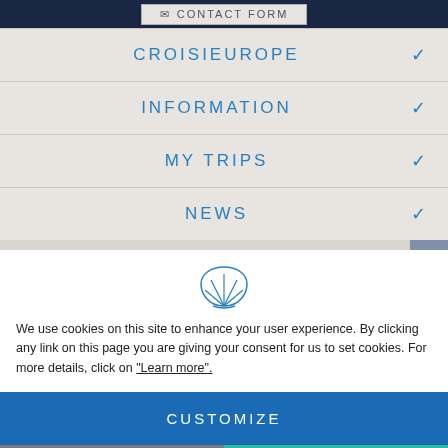[Figure (screenshot): CroisiEurope website navigation screenshot showing mobile menu with expandable sections and cookie consent banner]
CROISIEUROPE
INFORMATION
MY TRIPS
NEWS
We use cookies on this site to enhance your user experience. By clicking any link on this page you are giving your consent for us to set cookies. For more details, click on "Learn more".
CUSTOMIZE
REFUSE
OK, I AGREE